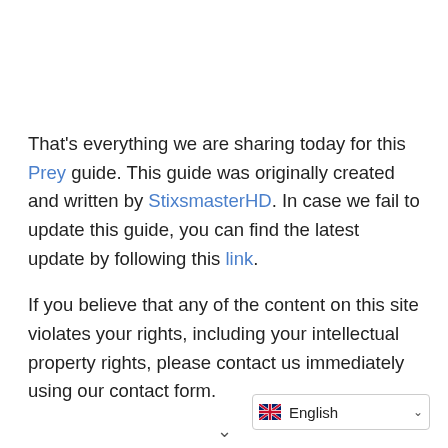That's everything we are sharing today for this Prey guide. This guide was originally created and written by StixsmasterHD. In case we fail to update this guide, you can find the latest update by following this link.
If you believe that any of the content on this site violates your rights, including your intellectual property rights, please contact us immediately using our contact form.